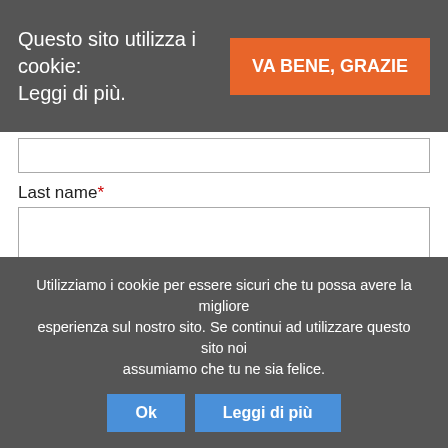Questo sito utilizza i cookie: Leggi di più.
VA BENE, GRAZIE
Last name*
E-mail*
Country*
Company
Contact type*
Please choose...
Anticnam
Utilizziamo i cookie per essere sicuri che tu possa avere la migliore esperienza sul nostro sito. Se continui ad utilizzare questo sito noi assumiamo che tu ne sia felice.
Ok
Leggi di più